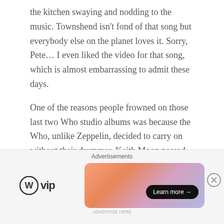the kitchen swaying and nodding to the music. Townshend isn't fond of that song but everybody else on the planet loves it. Sorry, Pete… I even liked the video for that song, which is almost embarrassing to admit these days.
One of the reasons people frowned on those last two Who studio albums was because the Who, unlike Zeppelin, decided to carry on without their drummer. Keith Moon passed away after the album Who Are You and many folks thought the Who lost a lot of their power. Kenny Jones of the Faces joined but he was a much more economical drummer, much different than the sound Moon generated. It didn't
[Figure (other): Advertisement bar with WordPress VIP logo on the left and a colorful gradient banner ad on the right with a 'Learn more' button. Labeled 'Advertisements' at top.]